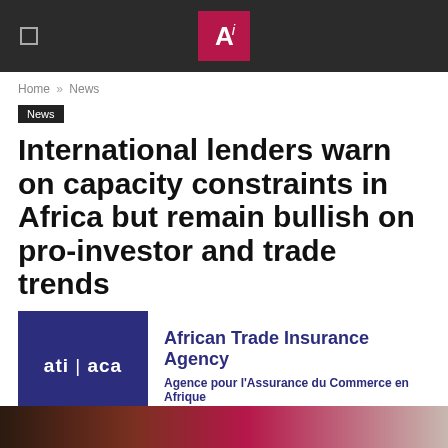Ai [logo] — navigation bar
Home » News
News
International lenders warn on capacity constraints in Africa but remain bullish on pro-investor and trade trends
[Figure (logo): ATI / ACA logo: dark blue square with white text 'ati | aca', next to 'African Trade Insurance Agency / Agence pour l'Assurance du Commerce en Afrique' in dark blue]
[Figure (photo): Partial photo strip at the bottom of the page, mostly cropped]